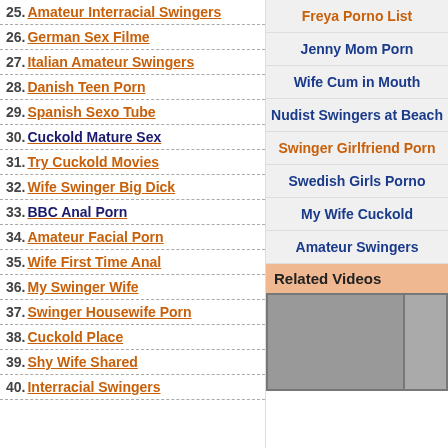25. Amateur Interracial Swingers
26. German Sex Filme
27. Italian Amateur Swingers
28. Danish Teen Porn
29. Spanish Sexo Tube
30. Cuckold Mature Sex
31. Try Cuckold Movies
32. Wife Swinger Big Dick
33. BBC Anal Porn
34. Amateur Facial Porn
35. Wife First Time Anal
36. My Swinger Wife
37. Swinger Housewife Porn
38. Cuckold Place
39. Shy Wife Shared
40. Interracial Swingers
Freya Porno List
Jenny Mom Porn
Wife Cum in Mouth
Nudist Swingers at Beach
Swinger Girlfriend Porn
Swedish Girls Porno
My Wife Cuckold
Amateur Swingers
Related Videos
[Figure (photo): Related video thumbnail showing two people in an intimate scene]